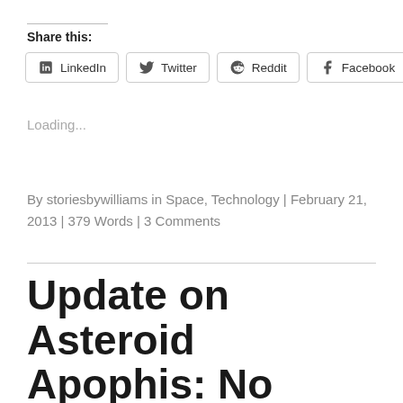Share this:
LinkedIn | Twitter | Reddit | Facebook
Loading...
By storiesbywilliams in Space, Technology | February 21, 2013 | 379 Words | 3 Comments
Update on Asteroid Apophis: No Apocalypse by 2036